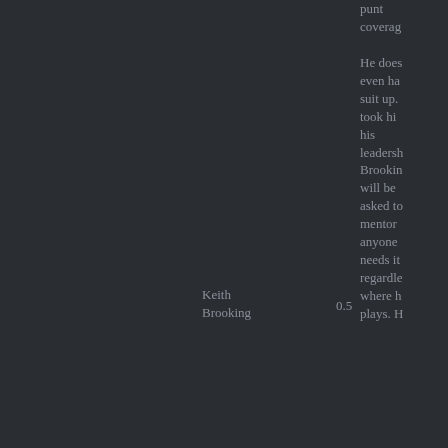punt coverage He does even ha suit up. took hi his leadersh Brookin will be asked to mentor anyone needs it regardle where h plays. H
Keith Brooking 0.5